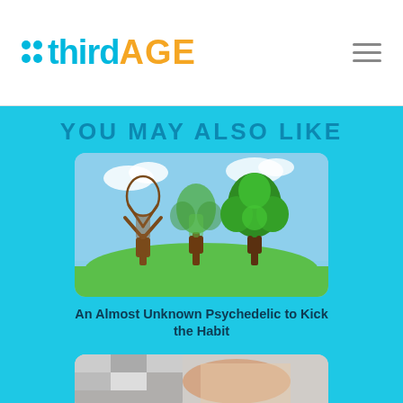thirdAGE
YOU MAY ALSO LIKE
[Figure (illustration): Three human-shaped trees showing progression from bare/dead brown tree to partially green tree to fully lush green leafy tree, representing health or habit recovery, set against a sky background with green grass.]
An Almost Unknown Psychedelic to Kick the Habit
[Figure (photo): Partially visible image at bottom of page, appears to show a person in bed with patterned bedding.]